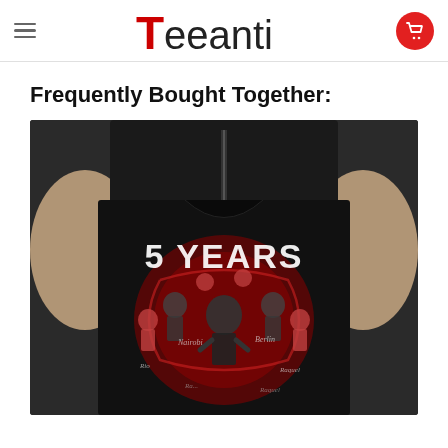Teeanti
Frequently Bought Together:
[Figure (photo): Person holding a black t-shirt with '5 YEARS' text and character artwork from La Casa de Papel (Money Heist), showing multiple characters with signatures on a red circular background.]